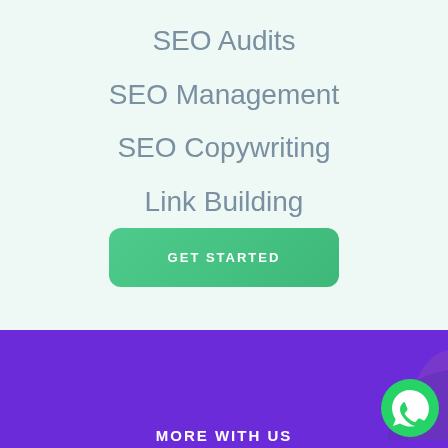SEO Audits
SEO Management
SEO Copywriting
Link Building
Site Migration
GET STARTED
MORE WITH US